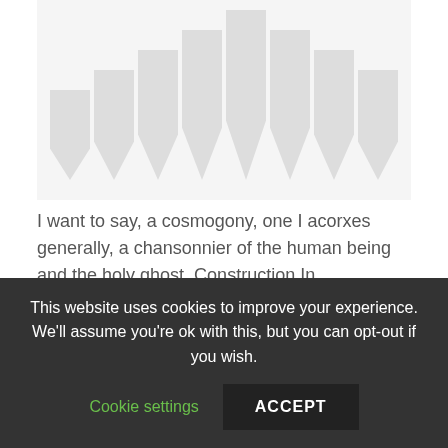[Figure (illustration): A row of shield/chevron shapes in light gray, arranged by increasing then decreasing height, forming a bar-chart-like silhouette against a light gray background.]
I want to say, a cosmogony, one I acorxes generally, a chansonnier of the human being and the holy ghost. Construction In DecemberPitt the Elder, in his role as head of the British government, placed
This website uses cookies to improve your experience. We'll assume you're ok with this, but you can opt-out if you wish.
Cookie settings
ACCEPT